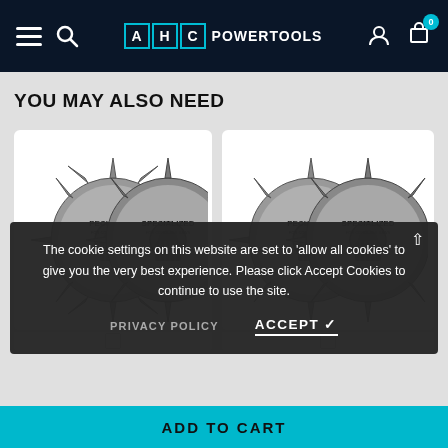AHC POWERTOOLS
YOU MAY ALSO NEED
[Figure (photo): Two SPECIALIZED saw blades (circular) overlapping, left product card]
[Figure (photo): Two SPECIALIZED saw blades (circular) overlapping, right product card]
The cookie settings on this website are set to 'allow all cookies' to give you the very best experience. Please click Accept Cookies to continue to use the site.
PRIVACY POLICY   ACCEPT ✓
ADD TO CART